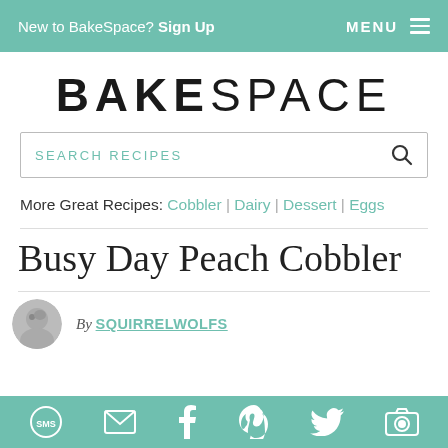New to BakeSpace? Sign Up   MENU
BAKESPACE
SEARCH RECIPES
More Great Recipes: Cobbler | Dairy | Dessert | Eggs
Busy Day Peach Cobbler
By SQUIRRELWOLFS
SMS | Email | Facebook | Pinterest | Twitter | Other